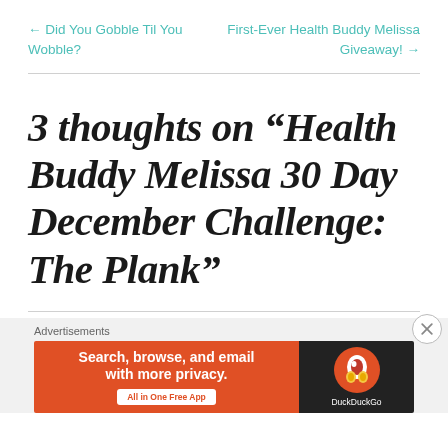← Did You Gobble Til You Wobble?
First-Ever Health Buddy Melissa Giveaway! →
3 thoughts on "Health Buddy Melissa 30 Day December Challenge: The Plank"
Advertisements
[Figure (screenshot): DuckDuckGo advertisement banner: orange background with text 'Search, browse, and email with more privacy.' and 'All in One Free App', with DuckDuckGo logo on dark background on the right.]